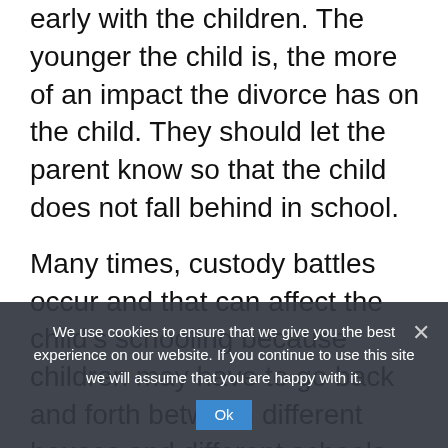usually the ones who can detect a problem early with the children. The younger the child is, the more of an impact the divorce has on the child. They should let the parent know so that the child does not fall behind in school.
Many times, custody battles occur and that can affect the child's schooling because children may have to go back and forth between different houses and different schools. Parents should encourage their children to remain active in school throughout the divorce. They should let...
We use cookies to ensure that we give you the best experience on our website. If you continue to use this site we will assume that you are happy with it.